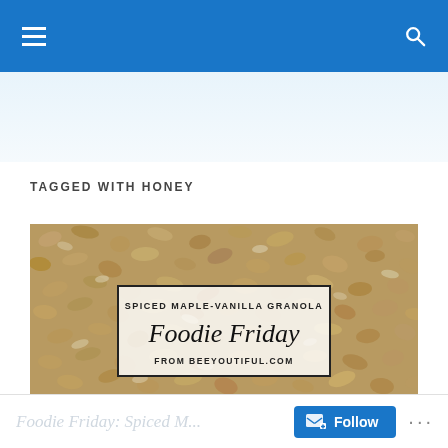Navigation bar with menu and search icons
TAGGED WITH HONEY
[Figure (photo): Close-up photo of granola (oats, nuts) on a baking sheet with a centered text box overlay reading 'SPICED MAPLE-VANILLA GRANOLA / Foodie Friday / FROM BEEYOUTIFUL.COM']
Foodie Friday: Spiced M... Follow ...